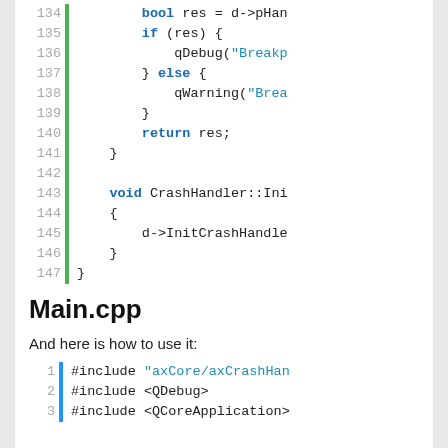[Figure (screenshot): Code block showing C++ source lines 134-147 with green left border. Lines include bool res assignment, if/else block with qDebug and qWarning calls, return res, closing braces, and void CrashHandler::Init function definition with d->InitCrashHandler call.]
Main.cpp
And here is how to use it:
[Figure (screenshot): Code block showing C++ include lines 1-3 with blue left border: #include "axCore/axCrashHan...", #include <QDebug>, #include <QCoreApplication>]